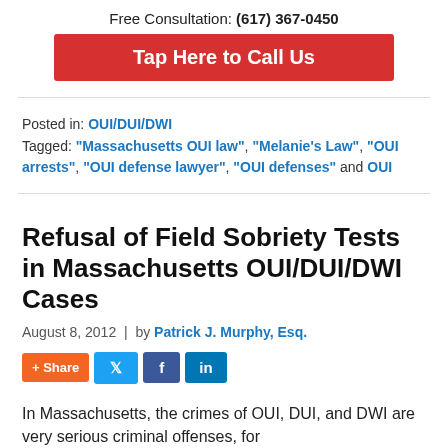Free Consultation: (617) 367-0450
Tap Here to Call Us
Posted in: OUI/DUI/DWI
Tagged: "Massachusetts OUI law", "Melanie's Law", "OUI arrests", "OUI defense lawyer", "OUI defenses" and OUI
Refusal of Field Sobriety Tests in Massachusetts OUI/DUI/DWI Cases
August 8, 2012 | by Patrick J. Murphy, Esq.
[Figure (infographic): Social share buttons: + Share, Twitter bird icon, Facebook f icon, LinkedIn in icon]
In Massachusetts, the crimes of OUI, DUI, and DWI are very serious criminal offenses, for